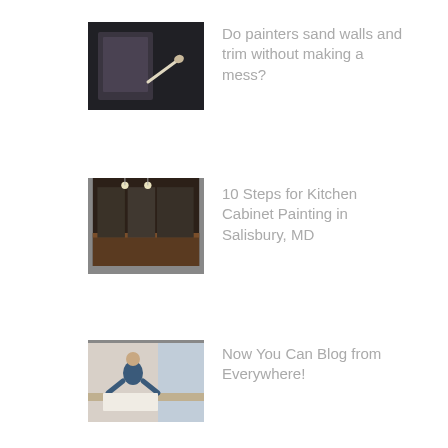[Figure (photo): Dark interior photo with a pointing finger/hand visible]
Do painters sand walls and trim without making a mess?
[Figure (photo): Kitchen interior with dark cabinetry and hardwood floors]
10 Steps for Kitchen Cabinet Painting in Salisbury, MD
[Figure (photo): Person leaning over a table working on something]
Now You Can Blog from Everywhere!